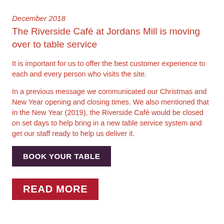December 2018
The Riverside Café at Jordans Mill is moving over to table service
It is important for us to offer the best customer experience to each and every person who visits the site.
In a previous message we communicated our Christmas and New Year opening and closing times. We also mentioned that in the New Year (2019), the Riverside Café would be closed on set days to help bring in a new table service system and get our staff ready to help us deliver it.
BOOK YOUR TABLE
READ MORE